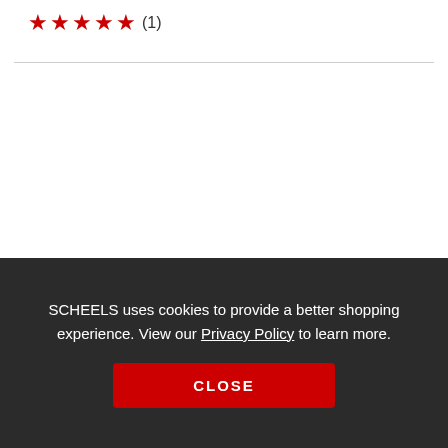★★★★★ (1)
[Figure (other): Color swatches: three light gray circles and one circle with plus icon]
Men's Patagonia Lightweight Synchilla Fleece Pullover 1/4
Women's L.L.Bean Cozy Marled Cowl Neck
SCHEELS uses cookies to provide a better shopping experience. View our Privacy Policy to learn more.
CLOSE